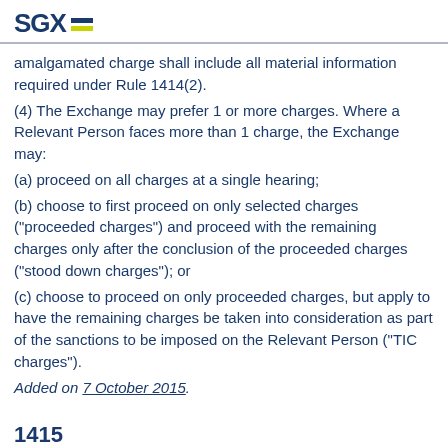SGX
amalgamated charge shall include all material information required under Rule 1414(2).
(4) The Exchange may prefer 1 or more charges. Where a Relevant Person faces more than 1 charge, the Exchange may:
(a) proceed on all charges at a single hearing;
(b) choose to first proceed on only selected charges ("proceeded charges") and proceed with the remaining charges only after the conclusion of the proceeded charges ("stood down charges"); or
(c) choose to proceed on only proceeded charges, but apply to have the remaining charges be taken into consideration as part of the sanctions to be imposed on the Relevant Person ("TIC charges").
Added on 7 October 2015.
1415